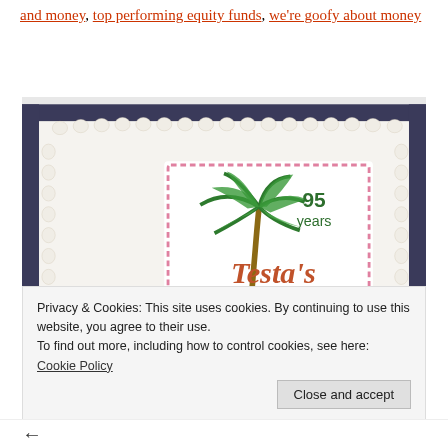and money, top performing equity funds, we're goofy about money
[Figure (photo): A rectangular white frosted cake with a decorative stamp-style image showing a palm tree and the text '95 years Testa's Palm Beach Since 1921' inside a pink dotted border rectangle.]
Privacy & Cookies: This site uses cookies. By continuing to use this website, you agree to their use.
To find out more, including how to control cookies, see here: Cookie Policy
Close and accept